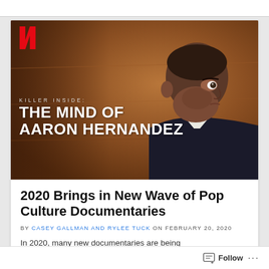[Figure (photo): Netflix documentary thumbnail image for 'Killer Inside: The Mind of Aaron Hernandez' showing a man in a suit looking sideways, with Netflix N logo in top left and title text overlaid.]
2020 Brings in New Wave of Pop Culture Documentaries
BY CASEY GALLMAN AND RYLEE TUCK ON FEBRUARY 20, 2020
In 2020, many new documentaries are being